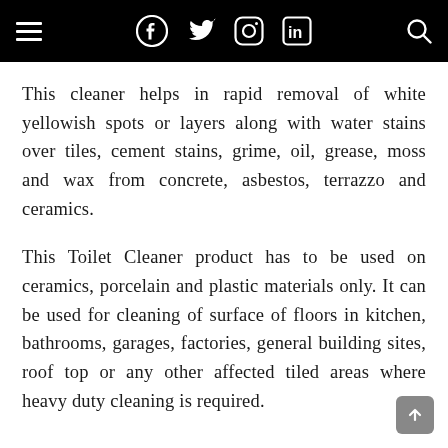[Navigation bar with hamburger menu, Facebook, Twitter, Instagram, LinkedIn icons, and search icon]
This cleaner helps in rapid removal of white yellowish spots or layers along with water stains over tiles, cement stains, grime, oil, grease, moss and wax from concrete, asbestos, terrazzo and ceramics.
This Toilet Cleaner product has to be used on ceramics, porcelain and plastic materials only. It can be used for cleaning of surface of floors in kitchen, bathrooms, garages, factories, general building sites, roof top or any other affected tiled areas where heavy duty cleaning is required.